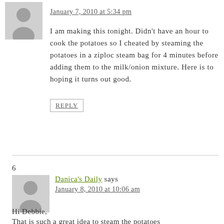[Figure (illustration): Generic user avatar placeholder - grey silhouette of a person on light grey background]
January 7, 2010 at 5:34 pm
I am making this tonight. Didn't have an hour to cook the potatoes so I cheated by steaming the potatoes in a ziploc steam bag for 4 minutes before adding them to the milk/onion mixture. Here is to hoping it turns out good.
REPLY
6
[Figure (illustration): Generic user avatar placeholder - grey silhouette of a person on light grey background]
Danica's Daily says
January 8, 2010 at 10:06 am
Hi Debbie,
That is such a great idea to steam the potatoes